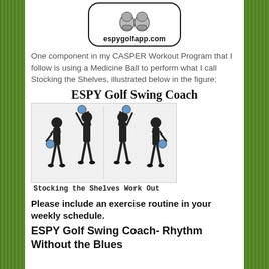[Figure (logo): Boxing gloves icon above espygolfapp.com URL inside rounded rectangle border]
One component in my CASPER Workout Program that I follow is using a Medicine Ball to perform what I call Stocking the Shelves, illustrated below in the figure:
[Figure (illustration): ESPY Golf Swing Coach heading above a photo of a person performing the Stocking the Shelves workout with a medicine ball in four positions. Caption: Stocking the Shelves Work Out]
Please include an exercise routine in your weekly schedule.
ESPY Golf Swing Coach- Rhythm Without the Blues